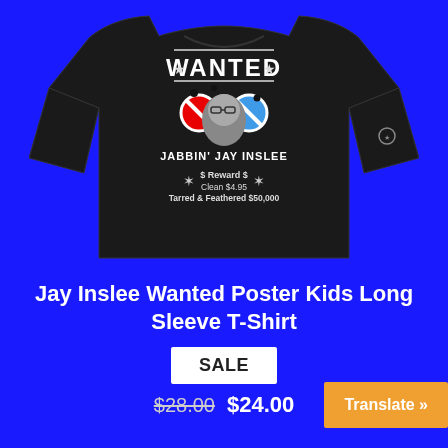[Figure (photo): Black long sleeve kids t-shirt with a 'WANTED' poster design featuring 'JABBIN' JAY INSLEE' and reward text, displayed on a bright blue background]
Jay Inslee Wanted Poster Kids Long Sleeve T-Shirt
SALE
$28.00 $24.00